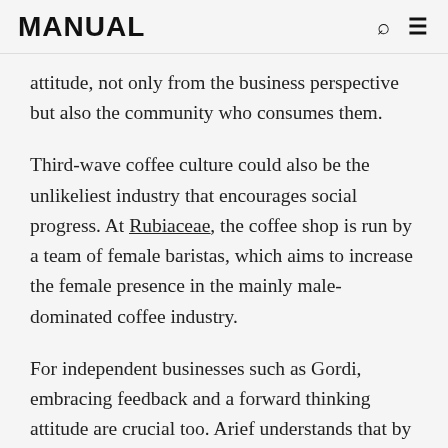MANUAL
attitude, not only from the business perspective but also the community who consumes them.
Third-wave coffee culture could also be the unlikeliest industry that encourages social progress. At Rubiaceae, the coffee shop is run by a team of female baristas, which aims to increase the female presence in the mainly male-dominated coffee industry.
For independent businesses such as Gordi, embracing feedback and a forward thinking attitude are crucial too. Arief understands that by playing a ‘patriarchal’ role of deciding the